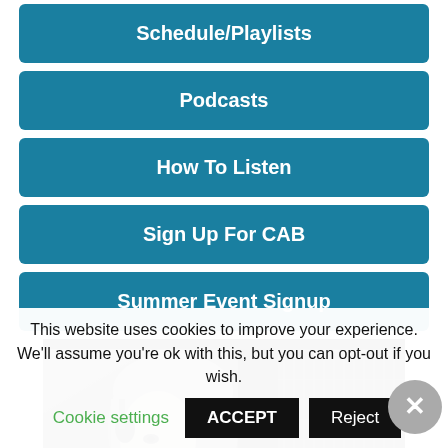Schedule/Playlists
Podcasts
How To Listen
Sign Up For CAB
Summer Event Signup
[Figure (photo): Black and white photograph of a woman wearing headphones, seated at what appears to be a radio or telephone switchboard, reaching toward equipment.]
This website uses cookies to improve your experience. We'll assume you're ok with this, but you can opt-out if you wish.
Cookie settings   ACCEPT   Reject